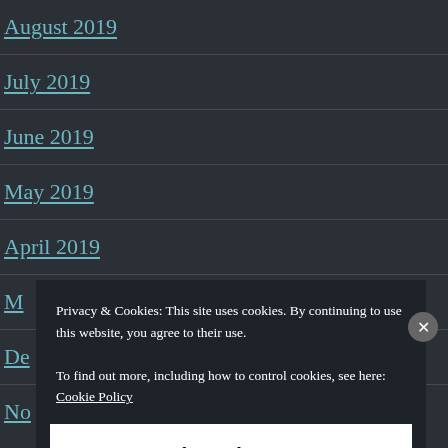August 2019
July 2019
June 2019
May 2019
April 2019
M[arch 2019 — partially visible]
De[cember 2018 — partially visible]
No[vember 2018 — partially visible]
Privacy & Cookies: This site uses cookies. By continuing to use this website, you agree to their use.
To find out more, including how to control cookies, see here: Cookie Policy
Close and accept